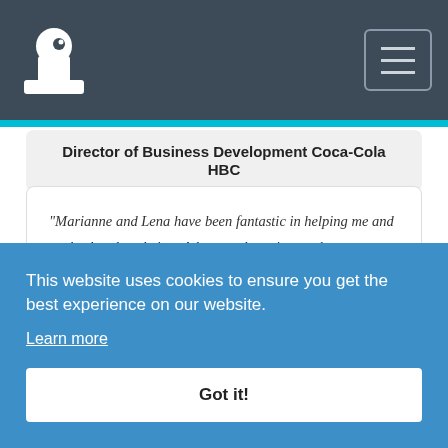Navigation bar with logo and hamburger menu
Director of Business Development Coca-Cola HBC
"Marianne and Lena have been fantastic in helping me and my husband settle into Athens and continue to be a great help through various bureaucratic intrigues in Greece. I'm not sure
This website uses cookies to ensure you get the best experience on our website.
Learn more
Got it!